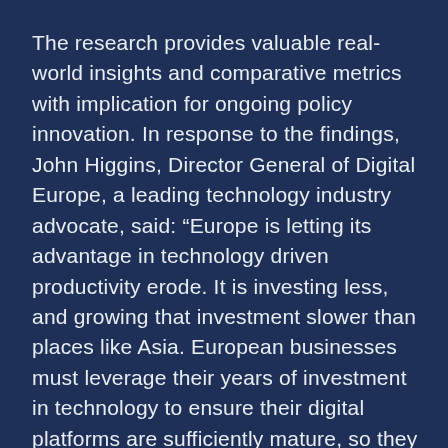The research provides valuable real-world insights and comparative metrics with implication for ongoing policy innovation. In response to the findings, John Higgins, Director General of Digital Europe, a leading technology industry advocate, said: “Europe is letting its advantage in technology driven productivity erode. It is investing less, and growing that investment slower than places like Asia. European businesses must leverage their years of investment in technology to ensure their digital platforms are sufficiently mature, so they make every investment count and stay competitive in this tough environment. The technology industry is proving that it can make a serious difference to productivity, but technology must work with the rest of the business if it is to be successful.”